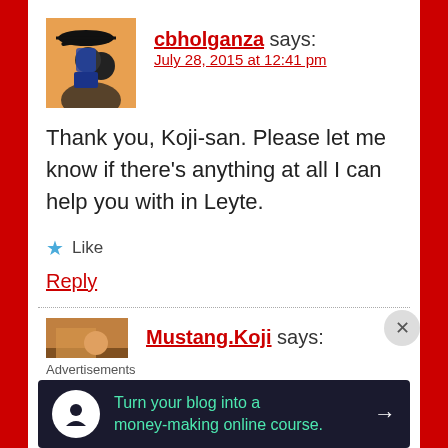cbholganza says:
July 28, 2015 at 12:41 pm
Thank you, Koji-san. Please let me know if there’s anything at all I can help you with in Leyte.
★ Like
Reply
Mustang.Koji says:
Advertisements
Turn your blog into a money-making online course.